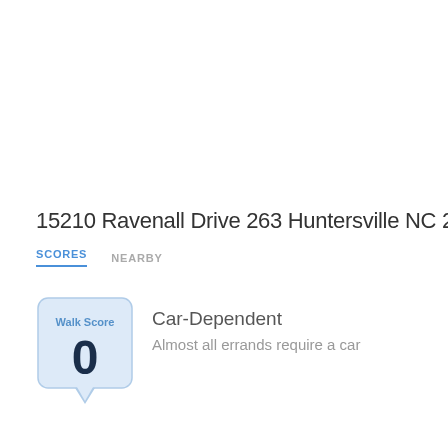15210 Ravenall Drive 263 Huntersville NC 28078
SCORES   NEARBY
[Figure (infographic): Walk Score badge showing a score of 0 in a blue speech-bubble widget]
Car-Dependent
Almost all errands require a car